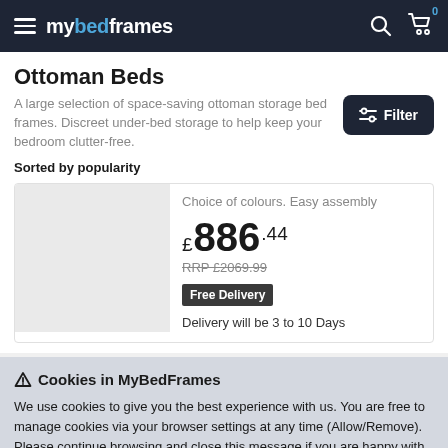mybedframes
Ottoman Beds
A large selection of space-saving ottoman storage bed frames. Discreet under-bed storage to help keep your bedroom clutter-free.
Sorted by popularity
Choice of colours. Easy assembly
£886.44
RRP £2069.99
Free Delivery  Delivery will be 3 to 10 Days
⚠ Cookies in MyBedFrames
We use cookies to give you the best experience with us. You are free to manage cookies via your browser settings at any time (Allow/Remove). Please continue browsing and close this message if you are happy with our privacy policy.